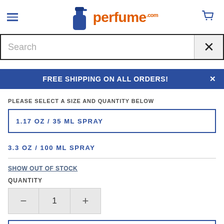99perfume.com
Search
FREE SHIPPING ON ALL ORDERS!
PLEASE SELECT A SIZE AND QUANTITY BELOW
1.17 OZ / 35 ML SPRAY
3.3 OZ / 100 ML SPRAY
SHOW OUT OF STOCK
QUANTITY
1